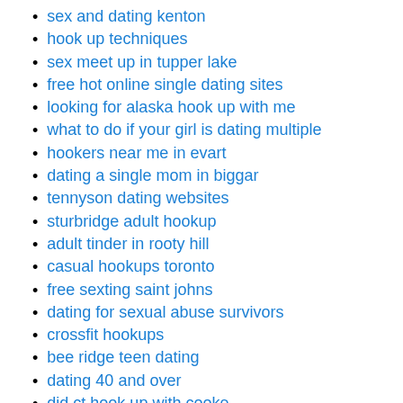sex and dating kenton
hook up techniques
sex meet up in tupper lake
free hot online single dating sites
looking for alaska hook up with me
what to do if your girl is dating multiple
hookers near me in evart
dating a single mom in biggar
tennyson dating websites
sturbridge adult hookup
adult tinder in rooty hill
casual hookups toronto
free sexting saint johns
dating for sexual abuse survivors
crossfit hookups
bee ridge teen dating
dating 40 and over
did ct hook up with cooke
hooker cum swallow